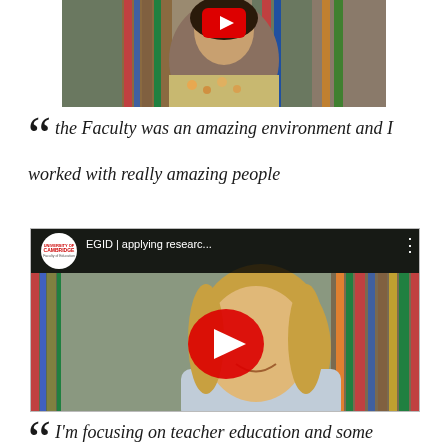[Figure (photo): Video thumbnail showing a woman in a floral top in what appears to be a library setting, with a YouTube play button overlay at the top]
“ the Faculty was an amazing environment and I worked with really amazing people
[Figure (screenshot): YouTube video thumbnail showing a smiling blonde woman in a library, titled 'EGID | applying researc...' with Cambridge University Faculty of Education logo and a red play button]
“ I'm focusing on teacher education and some pressing issues, I'll be able to use my research